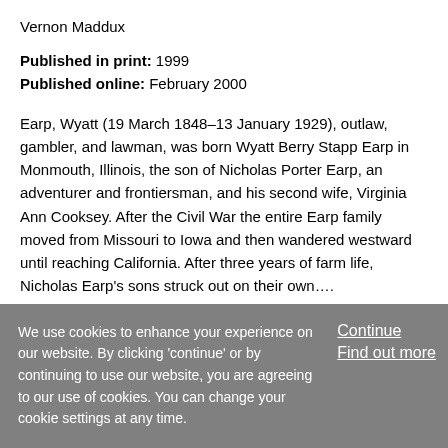Vernon Maddux
Published in print: 1999
Published online: February 2000
Earp, Wyatt (19 March 1848–13 January 1929), outlaw, gambler, and lawman, was born Wyatt Berry Stapp Earp in Monmouth, Illinois, the son of Nicholas Porter Earp, an adventurer and frontiersman, and his second wife, Virginia Ann Cooksey. After the Civil War the entire Earp family moved from Missouri to Iowa and then wandered westward until reaching California. After three years of farm life, Nicholas Earp's sons struck out on their own….
We use cookies to enhance your experience on our website. By clicking 'continue' or by continuing to use our website, you are agreeing to our use of cookies. You can change your cookie settings at any time.
Continue
Find out more